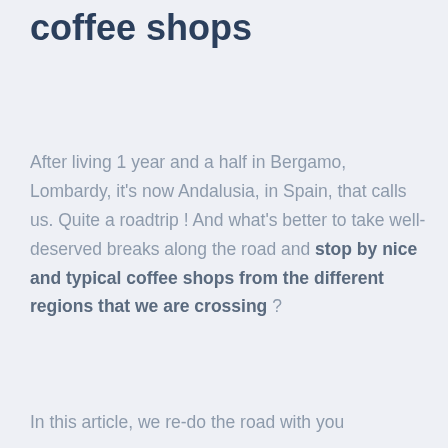coffee shops
After living 1 year and a half in Bergamo, Lombardy, it's now Andalusia, in Spain, that calls us. Quite a roadtrip ! And what's better to take well-deserved breaks along the road and stop by nice and typical coffee shops from the different regions that we are crossing ?
In this article, we re-do the road with you